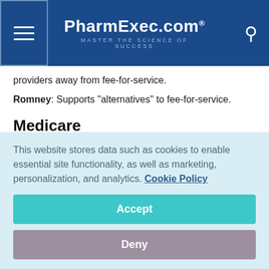PharmExec.com — MASTER THE SCIENCE OF SUCCESS
providers away from fee-for-service.
Romney: Supports "alternatives" to fee-for-service.
Medicare
Obama: Opposes any efforts to "privatize or voucherize" Medicare.
Romney: Reimagines Medicare as a "premium support...
This website stores data such as cookies to enable essential site functionality, as well as marketing, personalization, and analytics. Cookie Policy
Accept
Deny